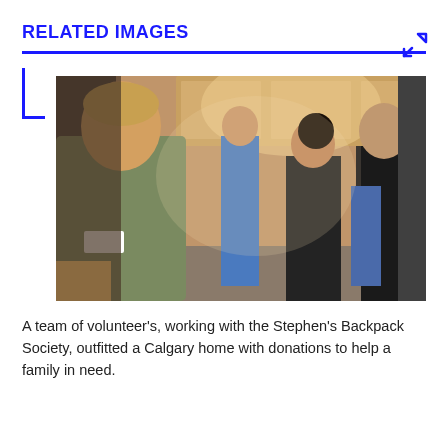RELATED IMAGES
[Figure (photo): A team of volunteers working inside a home. In the foreground, a woman in a green short-sleeve shirt with a name tag faces left. In the background, several women are visible, one in blue clothing near kitchen cabinets, others in dark clothing. The setting appears to be a residential kitchen/living area being outfitted.]
A team of volunteer's, working with the Stephen's Backpack Society, outfitted a Calgary home with donations to help a family in need.